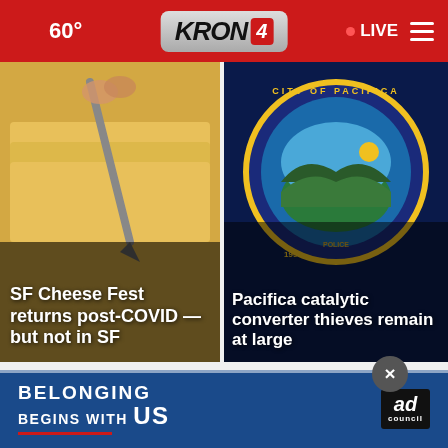60° KRON 4 LIVE
[Figure (photo): Cheese being cut with a knife, SF Cheese Fest headline overlay]
[Figure (photo): City of Pacifica seal/badge, Pacifica catalytic converter thieves remain at large headline overlay]
Top Stories ›
[Figure (screenshot): Advertisement banner: BELONGING BEGINS WITH US, ad council logo]